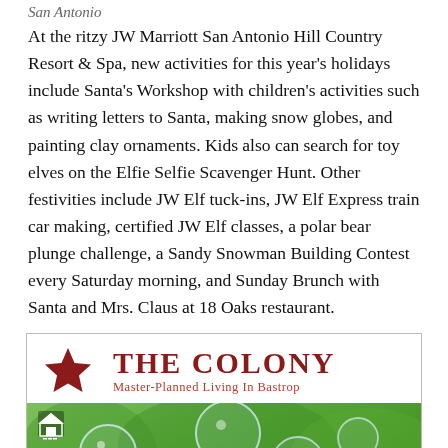San Antonio
At the ritzy JW Marriott San Antonio Hill Country Resort & Spa, new activities for this year's holidays include Santa's Workshop with children's activities such as writing letters to Santa, making snow globes, and painting clay ornaments. Kids also can search for toy elves on the Elfie Selfie Scavenger Hunt. Other festivities include JW Elf tuck-ins, JW Elf Express train car making, certified JW Elf classes, a polar bear plunge challenge, a Sandy Snowman Building Contest every Saturday morning, and Sunday Brunch with Santa and Mrs. Claus at 18 Oaks restaurant.
[Figure (advertisement): Advertisement for The Colony, Master-Planned Living In Bastrop, featuring a star logo, title text, and a photo of bubbles with greenery in the background.]